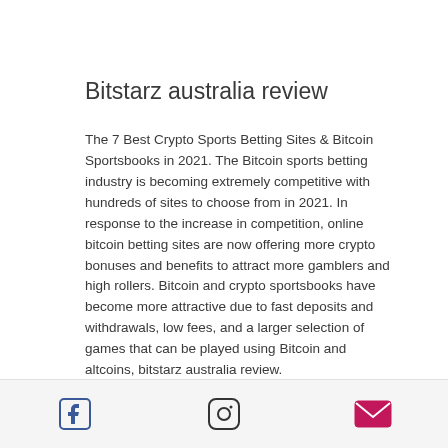Bitstarz australia review
The 7 Best Crypto Sports Betting Sites & Bitcoin Sportsbooks in 2021. The Bitcoin sports betting industry is becoming extremely competitive with hundreds of sites to choose from in 2021. In response to the increase in competition, online bitcoin betting sites are now offering more crypto bonuses and benefits to attract more gamblers and high rollers. Bitcoin and crypto sportsbooks have become more attractive due to fast deposits and withdrawals, low fees, and a larger selection of games that can be played using Bitcoin and altcoins, bitstarz australia review.
Facebook | Instagram | Email icons